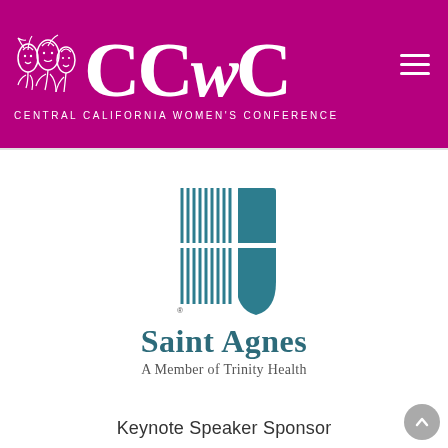[Figure (logo): CCWC Central California Women's Conference logo with stylized faces and script lettering on magenta background header]
[Figure (logo): Saint Agnes Medical Center logo — teal grid/shield icon above text 'Saint Agnes' and 'A Member of Trinity Health']
Keynote Speaker Sponsor